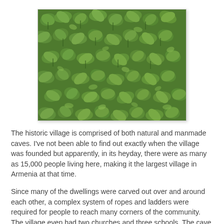[Figure (photo): Close-up photo of dense green leafy herb plants, possibly oregano or mint, with small green leaves and stems filling the entire frame.]
The historic village is comprised of both natural and manmade caves.  I've not been able to find out exactly when the village was founded but apparently, in its heyday, there were as many as 15,000 people living here, making it the largest village in Armenia at that time.
Since many of the dwellings were carved out over and around each other, a complex system of ropes and ladders were required for people to reach many corners of the community. The village even had two churches and three schools. The cave dwellings were inhabited until as late as